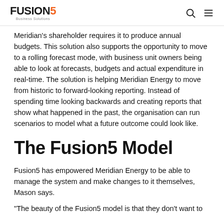Fusion5 Business Solutions
Meridian's shareholder requires it to produce annual budgets. This solution also supports the opportunity to move to a rolling forecast mode, with business unit owners being able to look at forecasts, budgets and actual expenditure in real-time. The solution is helping Meridian Energy to move from historic to forward-looking reporting. Instead of spending time looking backwards and creating reports that show what happened in the past, the organisation can run scenarios to model what a future outcome could look like.
The Fusion5 Model
Fusion5 has empowered Meridian Energy to be able to manage the system and make changes to it themselves, Mason says.
"The beauty of the Fusion5 model is that they don't want to